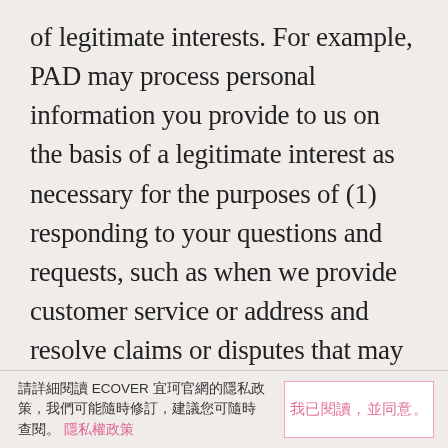of legitimate interests. For example, PAD may process personal information you provide to us on the basis of a legitimate interest as necessary for the purposes of (1) responding to your questions and requests, such as when we provide customer service or address and resolve claims or disputes that may arise, or (2) managing and improving our websites, such as when we identify your location and language preferences for content delivery, when we monitor comments and reviews on our websites to prevent terms
請詳細閱讀 ECOVER 宜珂官網的隱私政策，我們可能隨時修訂，建議您可隨時查閱。 隱私權政策
我已閱讀，並同意。